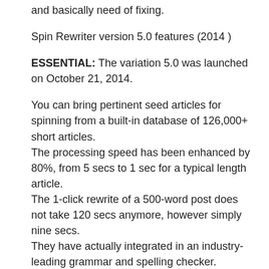and basically need of fixing.
Spin Rewriter version 5.0 features (2014 )
ESSENTIAL: The variation 5.0 was launched on October 21, 2014.
You can bring pertinent seed articles for spinning from a built-in database of 126,000+ short articles. The processing speed has been enhanced by 80%, from 5 secs to 1 sec for a typical length article. The 1-click rewrite of a 500-word post does not take 120 secs anymore, however simply nine secs. They have actually integrated in an industry-leading grammar and spelling checker. You can now automatically insert relevant You Tube videos into the short articles you fetch. You can have the paragraphs and lists in your produced posts wisely re-ordered on auto-pilot. More functions ...